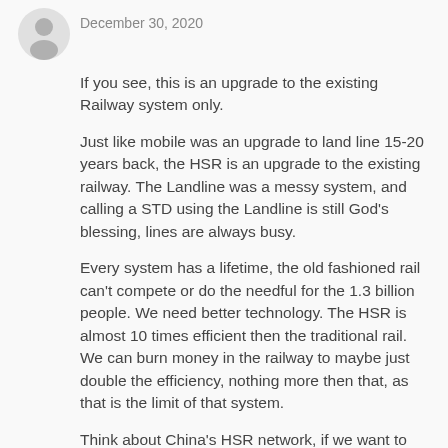[Figure (illustration): Gray silhouette avatar icon of a person]
December 30, 2020
If you see, this is an upgrade to the existing Railway system only.
Just like mobile was an upgrade to land line 15-20 years back, the HSR is an upgrade to the existing railway. The Landline was a messy system, and calling a STD using the Landline is still God’s blessing, lines are always busy.
Every system has a lifetime, the old fashioned rail can’t compete or do the needful for the 1.3 billion people. We need better technology. The HSR is almost 10 times efficient then the traditional rail. We can burn money in the railway to maybe just double the efficiency, nothing more then that, as that is the limit of that system.
Think about China’s HSR network, if we want to compete with them, we need the right tolls at least.
Reply